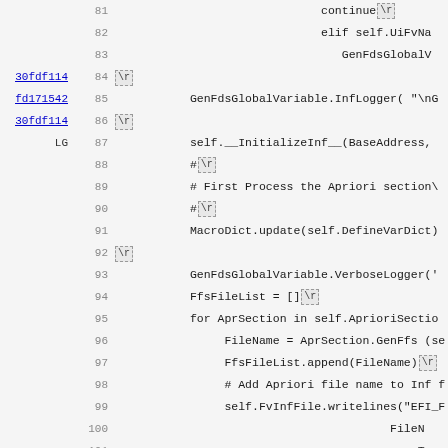Code viewer showing lines 81-113 of a Python file with blame annotations (30fdf114, fd171542, LG) and \r markers
81:                                              continue\r
82:                                              elif self.UiFvNa
83:                                              GenFdsGlobalV
30fdf114  84  \r
fd171542  85      GenFdsGlobalVariable.InfLogger( "\nG
30fdf114  86  \r
LG        87      self.__InitializeInf__(BaseAddress,
88      # \r
89      # First Process the Apriori section\
90      # \r
91      MacroDict.update(self.DefineVarDict)
92  \r
93      GenFdsGlobalVariable.VerboseLogger('
94      FfsFileList = []\r
95      for AprSection in self.AprioriSectio
96          FileName = AprSection.GenFfs (se
97          FfsFileList.append(FileName)\r
98          # Add Apriori file name to Inf f
99          self.FvInfFile.writelines("EFI_F
100                                        FileN
101                                        T.
102  \r
103      # Process Modules in FfsList\r
104      for FfsFile in self.FfsList :\r
105          FileName = FfsFile.GenFfs(MacroD
106          FfsFileList.append(FileName)\r
107          self.FvInfFile.writelines("EFI_F
108                                        FileN
109                                        T_CHA
110  \r
111      SaveFileOnChange(self.InfFileName, s
112      self.FvInfFile.close()\r
113  #\r